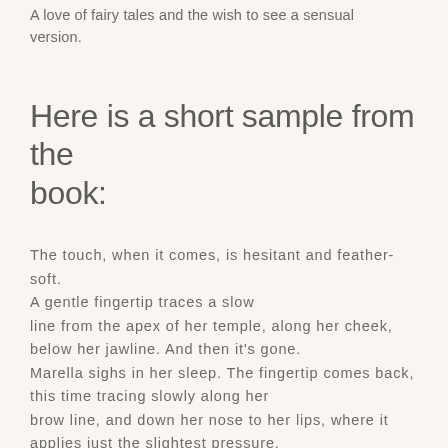A love of fairy tales and the wish to see a sensual version.
Here is a short sample from the book:
The touch, when it comes, is hesitant and feather-soft. A gentle fingertip traces a slow line from the apex of her temple, along her cheek, below her jawline. And then it's gone. Marella sighs in her sleep. The fingertip comes back, this time tracing slowly along her brow line, and down her nose to her lips, where it applies just the slightest pressure. She opens her mouth and the fingertip slides inside. Marella sucks it softly. It tastes like warm flesh and something else, something comforting that she can't quite name. Something.